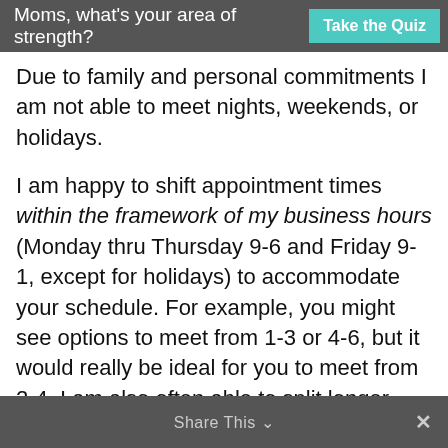Moms, what's your area of strength? Take the Quiz
Due to family and personal commitments I am not able to meet nights, weekends, or holidays.
I am happy to shift appointment times within the framework of my business hours (Monday thru Thursday 9-6 and Friday 9-1, except for holidays) to accommodate your schedule. For example, you might see options to meet from 1-3 or 4-6, but it would really be ideal for you to meet from 2-4. I am also often able to split longer meetings into shorter segments – for example, instead of one two-hour meeting, we could meet for two one-hour meetings. Please email
Share This  ×